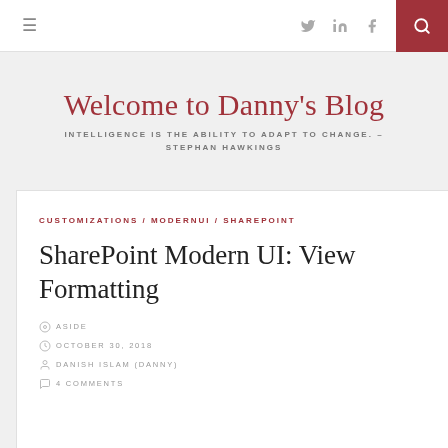≡  Twitter LinkedIn Facebook [search]
Welcome to Danny's Blog
INTELLIGENCE IS THE ABILITY TO ADAPT TO CHANGE. – STEPHAN HAWKINGS
CUSTOMIZATIONS / MODERNUI / SHAREPOINT
SharePoint Modern UI: View Formatting
ASIDE
OCTOBER 30, 2018
DANISH ISLAM (DANNY)
4 COMMENTS